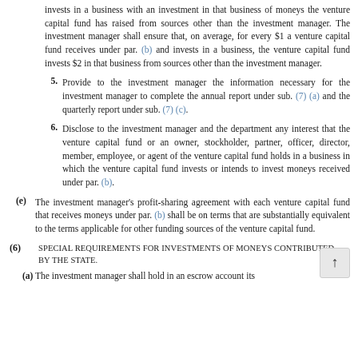invests in a business with an investment in that business of moneys the venture capital fund has raised from sources other than the investment manager. The investment manager shall ensure that, on average, for every $1 a venture capital fund receives under par. (b) and invests in a business, the venture capital fund invests $2 in that business from sources other than the investment manager.
5. Provide to the investment manager the information necessary for the investment manager to complete the annual report under sub. (7) (a) and the quarterly report under sub. (7) (c).
6. Disclose to the investment manager and the department any interest that the venture capital fund or an owner, stockholder, partner, officer, director, member, employee, or agent of the venture capital fund holds in a business in which the venture capital fund invests or intends to invest moneys received under par. (b).
(e) The investment manager's profit-sharing agreement with each venture capital fund that receives moneys under par. (b) shall be on terms that are substantially equivalent to the terms applicable for other funding sources of the venture capital fund.
(6) Special requirements for investments of moneys contributed by the state.
(a) The investment manager shall hold in an escrow account its